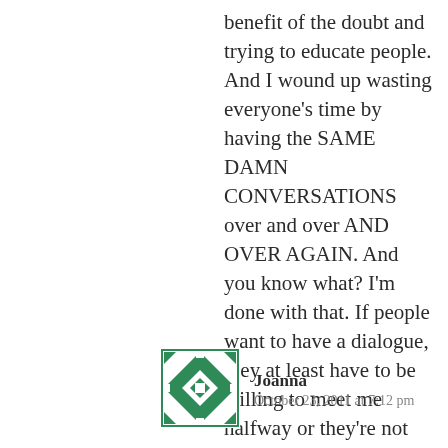benefit of the doubt and trying to educate people. And I wound up wasting everyone's time by having the SAME DAMN CONVERSATIONS over and over AND OVER AGAIN. And you know what? I'm done with that. If people want to have a dialogue, they at least have to be willing to meet me halfway or they're not worth my fucking time.
[Figure (illustration): Green and white geometric quilt-pattern avatar icon for commenter Joanna]
Joanna
October 23, 2011 at 7:12 pm